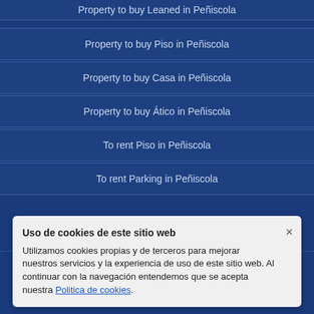Property to buy Leaned in Peñiscola
Property to buy Piso in Peñiscola
Property to buy Casa in Peñiscola
Property to buy Ático in Peñiscola
To rent Piso in Peñiscola
To rent Parking in Peñiscola
CONSTRUCCIONES JELBE, S.L. B12397949 - Avenida Maestro Bayarri, nº 5 - 964481515 - 12598 Peñiscola (Castellón)
Español | English | Deutsch | Francais
Uso de cookies de este sitio web
Utilizamos cookies propias y de terceros para mejorar nuestros servicios y la experiencia de uso de este sitio web. Al continuar con la navegación entendemos que se acepta nuestra Politica de cookies.